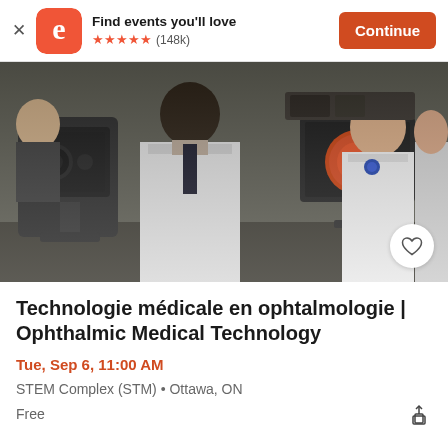Find events you'll love ★★★★★ (148k) Continue
[Figure (photo): Medical professionals in white lab coats examining a patient with ophthalmic equipment; a screen shows a retinal scan image in the background.]
Technologie médicale en ophtalmologie | Ophthalmic Medical Technology
Tue, Sep 6, 11:00 AM
STEM Complex (STM) • Ottawa, ON
Free